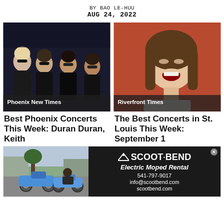BY BAO LE-HUU
AUG 24, 2022
[Figure (photo): Four members of Duran Duran wearing black leather jackets and sunglasses against a dark background. Phoenix New Times label overlaid at bottom.]
[Figure (photo): Young woman with mouth open wide in expressive pose, against a red/terracotta background. Riverfront Times label overlaid at bottom.]
Best Phoenix Concerts This Week: Duran Duran, Keith
The Best Concerts in St. Louis This Week: September 1
[Figure (photo): Advertisement for Scoot Bend Electric Moped Rental. Left side shows two electric mopeds parked outdoors with a person. Right side shows dark background with Scoot Bend logo, tagline 'Electric Moped Rental', phone 541-797-9017, email info@scootbend.com, website scootbend.com.]